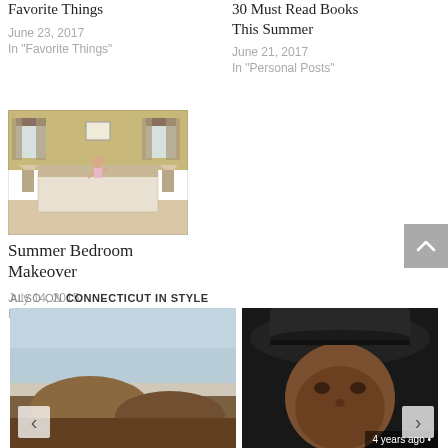Favorite Things
June 23, 2017
In "Favorite Things"
30 Must Read Books This Summer
June 21, 2017
In "Personal Posts"
[Figure (photo): Child jumping on a bed in a bedroom with patterned curtains and bedding]
Summer Bedroom Makeover
July 14, 2015
In "Home Tours"
ALSO ON CONNECTICUT IN STYLE
[Figure (photo): Landscape photo with hazy sky and rocky terrain]
[Figure (photo): Man wearing a black cowboy hat, close-up portrait]